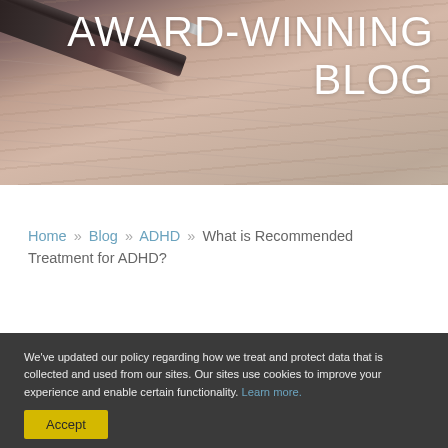[Figure (photo): Header image showing a pen resting on a lined notebook, with a pinkish-brown warm tone. White text overlay reads AWARD-WINNING BLOG.]
AWARD-WINNING BLOG
Home » Blog » ADHD » What is Recommended Treatment for ADHD?
We've updated our policy regarding how we treat and protect data that is collected and used from our sites. Our sites use cookies to improve your experience and enable certain functionality. Learn more.
Accept